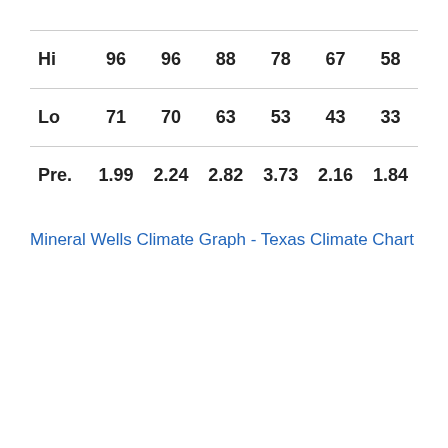| Hi | 96 | 96 | 88 | 78 | 67 | 58 |
| Lo | 71 | 70 | 63 | 53 | 43 | 33 |
| Pre. | 1.99 | 2.24 | 2.82 | 3.73 | 2.16 | 1.84 |
Mineral Wells Climate Graph - Texas Climate Chart